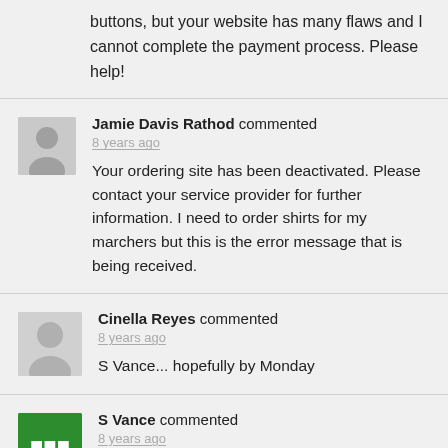buttons, but your website has many flaws and I cannot complete the payment process. Please help!
Jamie Davis Rathod commented
8 years ago
Your ordering site has been deactivated. Please contact your service provider for further information. I need to order shirts for my marchers but this is the error message that is being received.
Cinella Reyes commented
8 years ago
S Vance... hopefully by Monday
S Vance commented
8 years ago